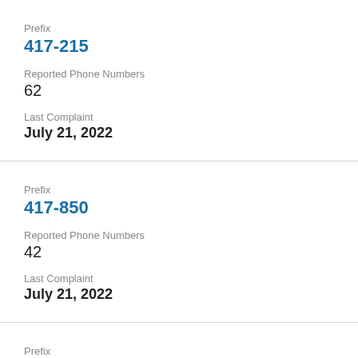Prefix
417-215
Reported Phone Numbers
62
Last Complaint
July 21, 2022
Prefix
417-850
Reported Phone Numbers
42
Last Complaint
July 21, 2022
Prefix